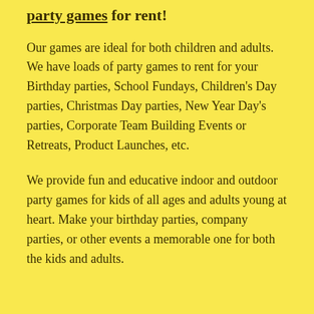party games for rent!
Our games are ideal for both children and adults. We have loads of party games to rent for your Birthday parties, School Fundays, Children's Day parties, Christmas Day parties, New Year Day's parties, Corporate Team Building Events or Retreats, Product Launches, etc.
We provide fun and educative indoor and outdoor party games for kids of all ages and adults young at heart. Make your birthday parties, company parties, or other events a memorable one for both the kids and adults.